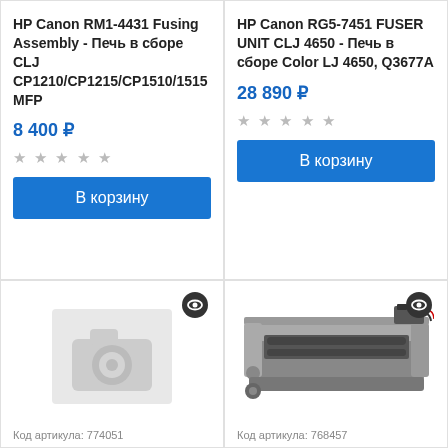HP Canon RM1-4431 Fusing Assembly - Печь в сборе CLJ CP1210/CP1215/CP1510/1515 MFP
8 400 ₽
В корзину
HP Canon RG5-7451 FUSER UNIT CLJ 4650 - Печь в сборе Color LJ 4650, Q3677A
28 890 ₽
В корзину
[Figure (photo): No image placeholder (camera icon) for product]
Код артикула: 774051
[Figure (photo): Photo of HP Canon RG5-7451 fuser unit assembly]
Код артикула: 768457